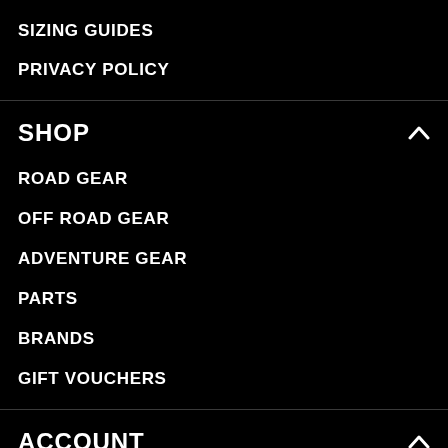SIZING GUIDES
PRIVACY POLICY
SHOP
ROAD GEAR
OFF ROAD GEAR
ADVENTURE GEAR
PARTS
BRANDS
GIFT VOUCHERS
ACCOUNT